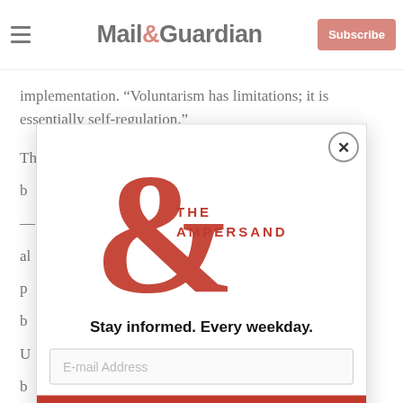Mail&Guardian | Subscribe
implementation. “Voluntarism has limitations; it is essentially self-regulation.”
The United Nations Guiding Principles (UNGPs) are b…
[Figure (logo): The Ampersand logo — a large red ampersand symbol with the text 'THE AMPERSAND' beside it. Modal popup overlay for Mail & Guardian newsletter signup.]
Stay informed. Every weekday.
E-mail Address
Signup now